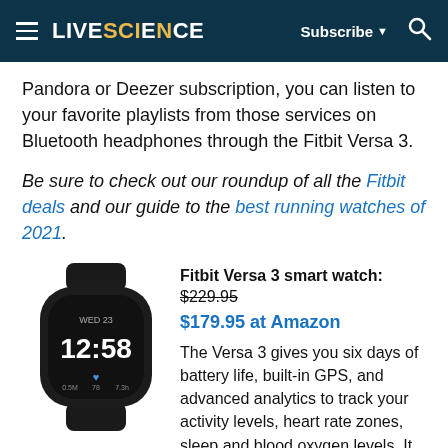LIVESCIENCE  Subscribe  [search]
Pandora or Deezer subscription, you can listen to your favorite playlists from those services on Bluetooth headphones through the Fitbit Versa 3.
Be sure to check out our roundup of all the Fitbit deals and our guide to the best running watches of 2021.
[Figure (photo): Black Fitbit Versa 3 smart watch showing time 12:58 on display]
Fitbit Versa 3 smart watch: $229.95
$179.95 at Amazon
The Versa 3 gives you six days of battery life, built-in GPS, and advanced analytics to track your activity levels, heart rate zones, sleep and blood oxygen levels. It also